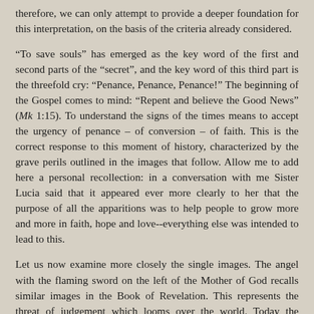therefore, we can only attempt to provide a deeper foundation for this interpretation, on the basis of the criteria already considered.
“To save souls” has emerged as the key word of the first and second parts of the “secret”, and the key word of this third part is the threefold cry: “Penance, Penance, Penance!” The beginning of the Gospel comes to mind: “Repent and believe the Good News” (Mk 1:15). To understand the signs of the times means to accept the urgency of penance – of conversion – of faith. This is the correct response to this moment of history, characterized by the grave perils outlined in the images that follow. Allow me to add here a personal recollection: in a conversation with me Sister Lucia said that it appeared ever more clearly to her that the purpose of all the apparitions was to help people to grow more and more in faith, hope and love--everything else was intended to lead to this.
Let us now examine more closely the single images. The angel with the flaming sword on the left of the Mother of God recalls similar images in the Book of Revelation. This represents the threat of judgement which looms over the world. Today the prospect that the world might be reduced to ashes by a sea of fire no longer seems pure fantasy: man himself, with his inventions, has forged the flaming sword. The vision then shows the power which stands opposed to the force of destruction--the splendour of the Mother of God and, stemming from this in a certain way, the